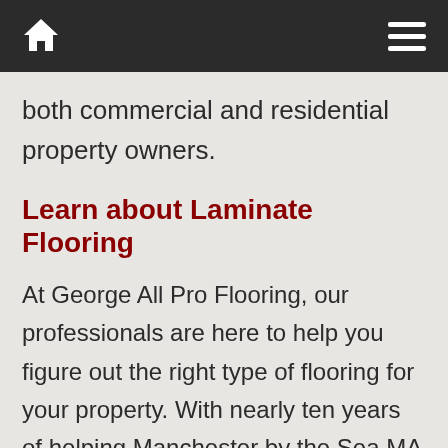Navigation bar with home icon and hamburger menu
both commercial and residential property owners.
Learn about Laminate Flooring
At George All Pro Flooring, our professionals are here to help you figure out the right type of flooring for your property. With nearly ten years of helping Manchester by the Sea MA home and business owners find the right fit for their homes, we know that sometimes the process can be overwhelming. Let us ease